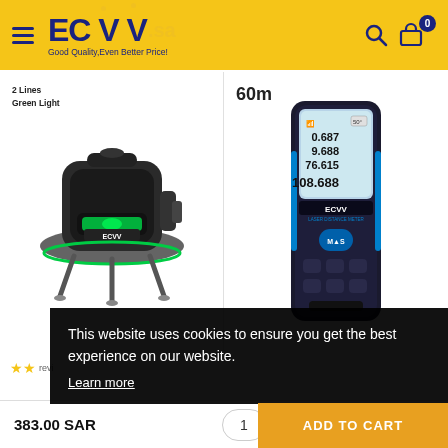[Figure (screenshot): ECVV.sa website header with yellow background, hamburger menu, logo, tagline 'Good Quality, Even Better Price!', search icon, cart icon with 0 badge]
[Figure (photo): Green laser level tool with '2 Lines Green Light' label]
[Figure (photo): Black digital laser distance meter with '60m' label, showing measurements 0.687, 9.688, 76.615, 108.688]
This website uses cookies to ensure you get the best experience on our website.
Learn more
383.00 SAR
1
Chat with us
ADD TO CART